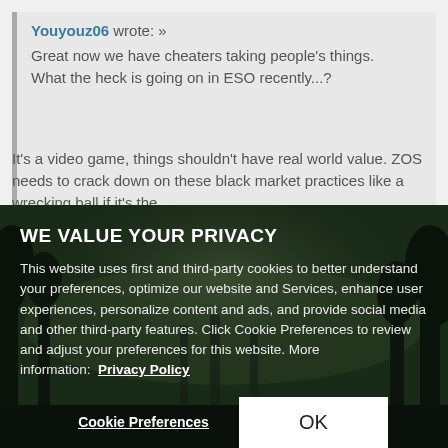Youyouz06 wrote: »
Great now we have cheaters taking people's things.
What the heck is going on in ESO recently...?
It's a video game, things shouldn't have real world value. ZOS needs to crack down on these black market practices like a wrecking ball if it's the
WE VALUE YOUR PRIVACY
This website uses first and third-party cookies to better understand your preferences, optimize our website and Services, enhance user experiences, personalize content and ads, and provide social media and other third-party features. Click Cookie Preferences to review and adjust your preferences for this website. More information:  Privacy Policy
Cookie Preferences
OK